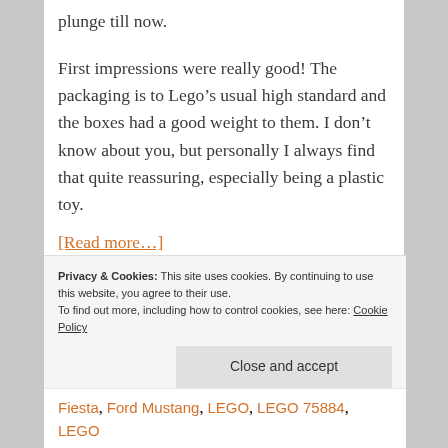plunge till now.
First impressions were really good! The packaging is to Lego’s usual high standard and the boxes had a good weight to them. I don’t know about you, but personally I always find that quite reassuring, especially being a plastic toy.
[Read more…]
Privacy & Cookies: This site uses cookies. By continuing to use this website, you agree to their use.
To find out more, including how to control cookies, see here: Cookie Policy
Close and accept
Fiesta, Ford Mustang, LEGO, LEGO 75884, LEGO